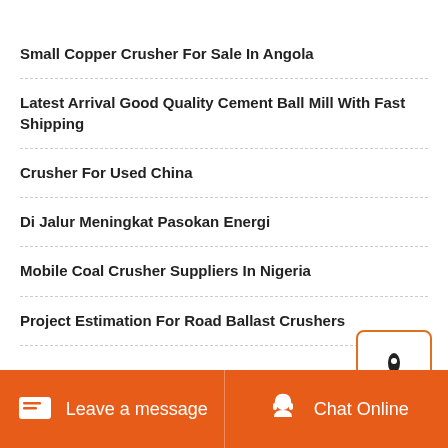Small Copper Crusher For Sale In Angola
Latest Arrival Good Quality Cement Ball Mill With Fast Shipping
Crusher For Used China
Di Jalur Meningkat Pasokan Energi
Mobile Coal Crusher Suppliers In Nigeria
Project Estimation For Road Ballast Crushers
Leave a message  Chat Online